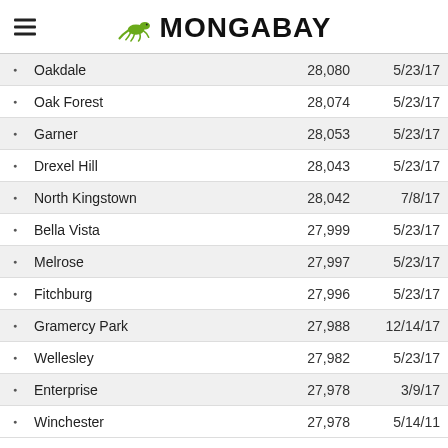MONGABAY
|  | Name | Population | Date |
| --- | --- | --- | --- |
| • | Oakdale | 28,080 | 5/23/17 |
| • | Oak Forest | 28,074 | 5/23/17 |
| • | Garner | 28,053 | 5/23/17 |
| • | Drexel Hill | 28,043 | 5/23/17 |
| • | North Kingstown | 28,042 | 7/8/17 |
| • | Bella Vista | 27,999 | 5/23/17 |
| • | Melrose | 27,997 | 5/23/17 |
| • | Fitchburg | 27,996 | 5/23/17 |
| • | Gramercy Park | 27,988 | 12/14/17 |
| • | Wellesley | 27,982 | 5/23/17 |
| • | Enterprise | 27,978 | 3/9/17 |
| • | Winchester | 27,978 | 5/14/11 |